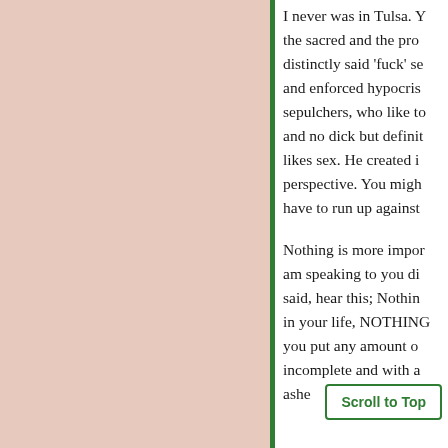I never was in Tulsa. You the sacred and the pro distinctly said 'fuck' se and enforced hypocris sepulchers, who like to and no dick but definit likes sex. He created i perspective. You migh have to run up against
Nothing is more impor am speaking to you di said, hear this; Nothin in your life, NOTHING you put any amount o incomplete and with a ashe